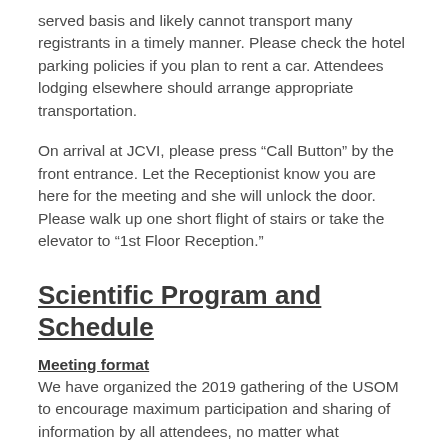served basis and likely cannot transport many registrants in a timely manner. Please check the hotel parking policies if you plan to rent a car. Attendees lodging elsewhere should arrange appropriate transportation.
On arrival at JCVI, please press “Call Button” by the front entrance. Let the Receptionist know you are here for the meeting and she will unlock the door. Please walk up one short flight of stairs or take the elevator to “1st Floor Reception.”
Scientific Program and Schedule
Meeting format
We have organized the 2019 gathering of the USOM to encourage maximum participation and sharing of information by all attendees, no matter what background or level of expertise and training you may